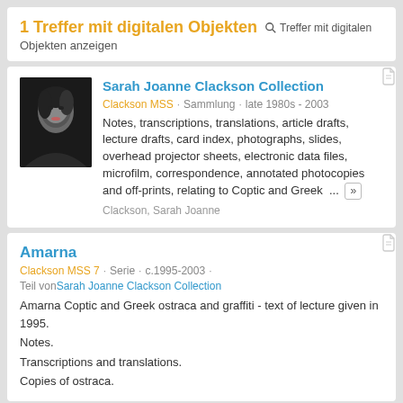1 Treffer mit digitalen Objekten  Treffer mit digitalen Objekten anzeigen
Sarah Joanne Clackson Collection
Clackson MSS · Sammlung · late 1980s - 2003
Notes, transcriptions, translations, article drafts, lecture drafts, card index, photographs, slides, overhead projector sheets, electronic data files, microfilm, correspondence, annotated photocopies and off-prints, relating to Coptic and Greek ... »
Clackson, Sarah Joanne
Amarna
Clackson MSS 7 · Serie · c.1995-2003 ·
Teil von Sarah Joanne Clackson Collection
Amarna Coptic and Greek ostraca and graffiti - text of lecture given in 1995.
Notes.
Transcriptions and translations.
Copies of ostraca.